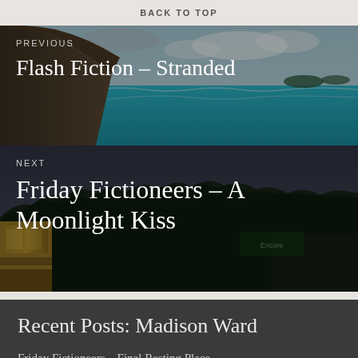BACK TO TOP
Flash Fiction – Stranded
Friday Fictioneers – A Moonlight Kiss
Recent Posts: Madison Ward
Friday Fictioneers – Final Resting Place
Friday Fictioneers – The Lake